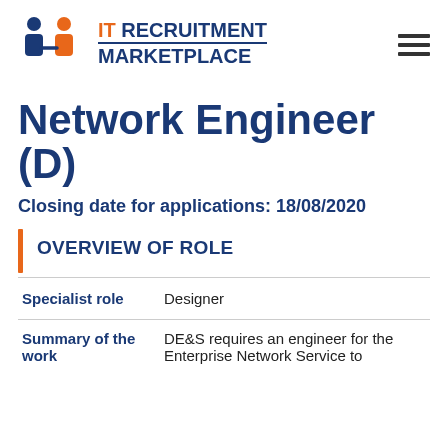[Figure (logo): IT Recruitment Marketplace logo with two people figures (blue and orange) and text IT RECRUITMENT MARKETPLACE in blue and orange on dark blue]
Network Engineer (D)
Closing date for applications: 18/08/2020
OVERVIEW OF ROLE
|  |  |
| --- | --- |
| Specialist role | Designer |
| Summary of the work | DE&S requires an engineer for the Enterprise Network Service to |